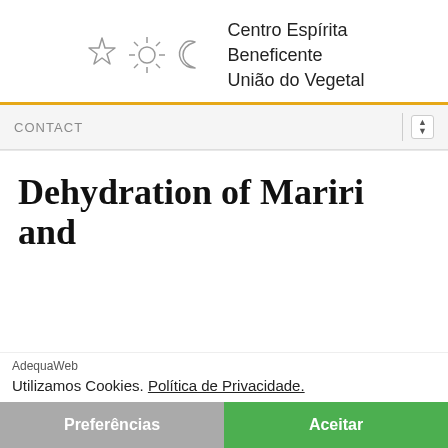[Figure (logo): Centro Espírita Beneficente União do Vegetal logo with star, sun, and crescent moon icons]
Centro Espírita Beneficente União do Vegetal
CONTACT
Dehydration of Mariri and
AdequaWeb
Utilizamos Cookies. Política de Privacidade.
Preferências
Aceitar